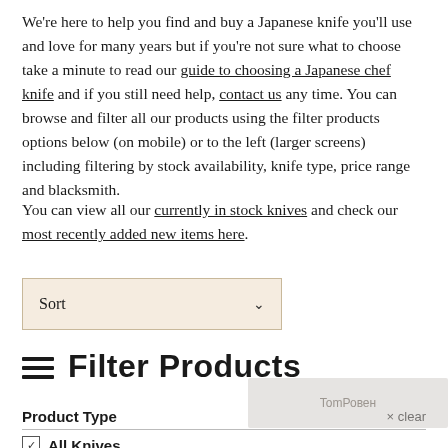We're here to help you find and buy a Japanese knife you'll use and love for many years but if you're not sure what to choose take a minute to read our guide to choosing a Japanese chef knife and if you still need help, contact us any time. You can browse and filter all our products using the filter products options below (on mobile) or to the left (larger screens) including filtering by stock availability, knife type, price range and blacksmith.
You can view all our currently in stock knives and check our most recently added new items here.
[Figure (other): Sort dropdown selector with beige/cream background and chevron arrow]
Filter Products
Product Type
All Knives